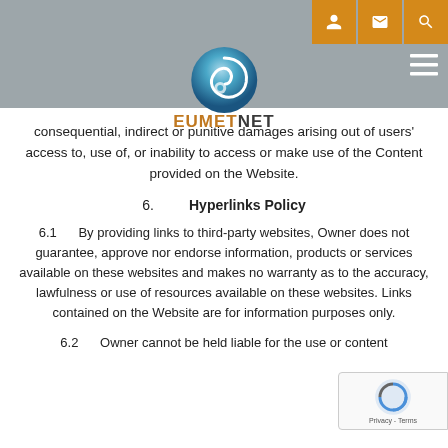[Figure (logo): EUMETNET logo with spiral globe graphic and orange/grey text]
consequential, indirect or punitive damages arising out of users' access to, use of, or inability to access or make use of the Content provided on the Website.
6.  Hyperlinks Policy
6.1  By providing links to third-party websites, Owner does not guarantee, approve nor endorse information, products or services available on these websites and makes no warranty as to the accuracy, lawfulness or use of resources available on these websites. Links contained on the Website are for information purposes only.
6.2  Owner cannot be held liable for the use or content